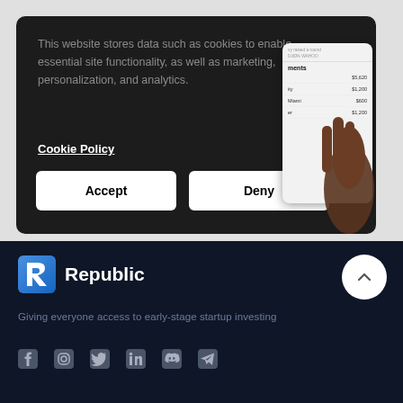[Figure (screenshot): Cookie consent modal overlay on a dark background with cookie policy text, a 'Cookie Policy' link, and Accept/Deny buttons. A hand holding a phone with financial app is partially visible on the right.]
This website stores data such as cookies to enable essential site functionality, as well as marketing, personalization, and analytics.
Cookie Policy
Accept
Deny
[Figure (logo): Republic logo - blue stylized R letter followed by 'Republic' text in white on dark navy background]
Giving everyone access to early-stage startup investing
[Figure (infographic): Social media icons row: Facebook, Instagram, Twitter, LinkedIn, Discord, Telegram]